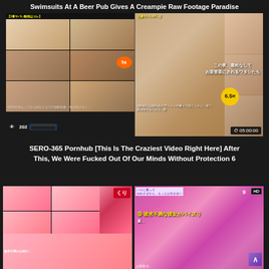Swimsuits At A Beer Pub Gives A Creampie Raw Footage Paradise
[Figure (photo): DVD cover collage showing multiple scenes, Japanese text overlays, duration badge 05:00:00, view count 202]
SERO-365 Pornhub [This Is The Craziest Video Right Here] After This, We Were Fucked Out Of Our Minds Without Protection 6
[Figure (photo): Two video thumbnails at bottom: left with pink/red tones grid layout with logo, right with purple/magenta tones with HD badge and scroll arrow]